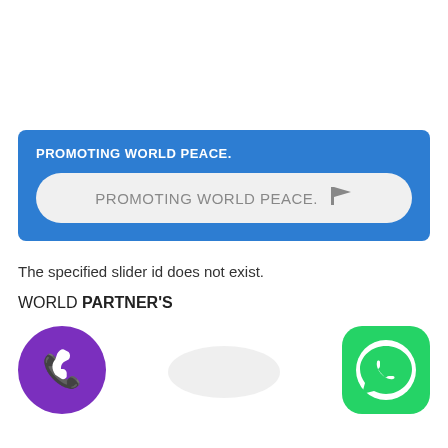[Figure (infographic): Blue banner with white bold text 'PROMOTING WORLD PEACE.' at top, and a light grey pill/rounded rectangle containing grey text 'PROMOTING WORLD PEACE.' followed by a flag emoji]
The specified slider id does not exist.
WORLD PARTNER'S
[Figure (logo): Viber app logo: purple circle with white phone handset icon]
[Figure (logo): WhatsApp app logo: green rounded square with white speech bubble phone icon]